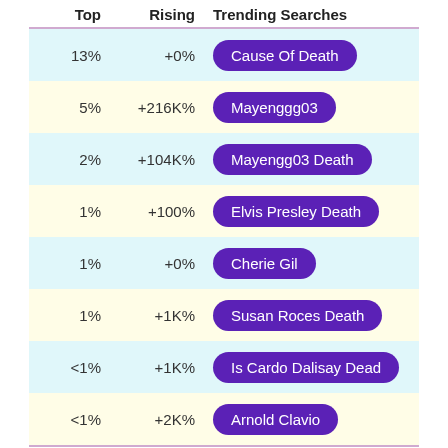| Top | Rising | Trending Searches |
| --- | --- | --- |
| 13% | +0% | Cause Of Death |
| 5% | +216K% | Mayenggg03 |
| 2% | +104K% | Mayengg03 Death |
| 1% | +100% | Elvis Presley Death |
| 1% | +0% | Cherie Gil |
| 1% | +1K% | Susan Roces Death |
| <1% | +1K% | Is Cardo Dalisay Dead |
| <1% | +2K% | Arnold Clavio |
Past Month
| Top | Rising | Trending Searches |
| --- | --- | --- |